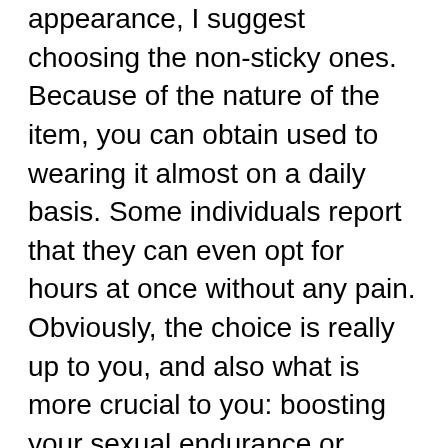appearance, I suggest choosing the non-sticky ones. Because of the nature of the item, you can obtain used to wearing it almost on a daily basis. Some individuals report that they can even opt for hours at once without any pain. Obviously, the choice is really up to you, and also what is more crucial to you: boosting your sexual endurance or feeling good concerning your member?
Lastly is the penis enhancement surgical treatment route. This includes cutting into your penis and also drawing it out by the origin, supposedly enhancing the penis in size and girth. Though several reliable physicians have actually done these operations, the general treatment is